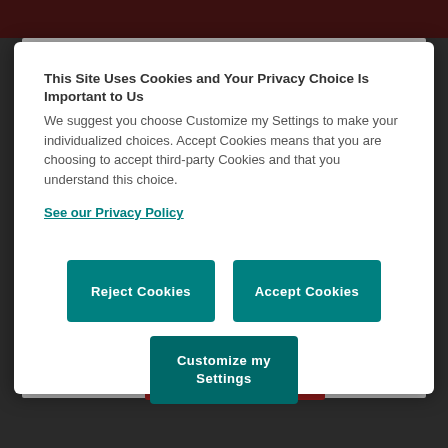This Site Uses Cookies and Your Privacy Choice Is Important to Us
We suggest you choose Customize my Settings to make your individualized choices. Accept Cookies means that you are choosing to accept third-party Cookies and that you understand this choice.
See our Privacy Policy
Reject Cookies
Accept Cookies
Customize my Settings